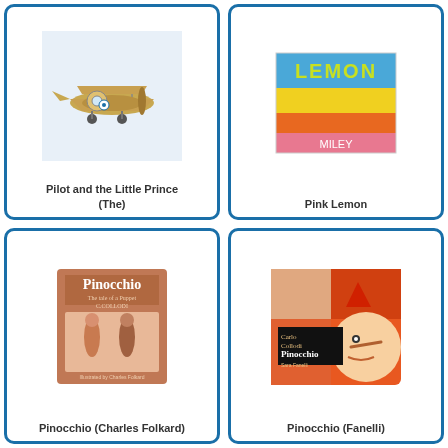[Figure (illustration): Book cover of 'Pilot and the Little Prince (The)' showing a biplane illustration]
Pilot and the Little Prince (The)
[Figure (illustration): Book cover of 'Pink Lemon' showing colorful horizontal stripes with LEMON text and MILEY label]
Pink Lemon
[Figure (illustration): Book cover of 'Pinocchio (Charles Folkard)' - reddish-brown vintage book cover with Pinocchio illustrations]
Pinocchio (Charles Folkard)
[Figure (illustration): Book cover of 'Pinocchio (Fanelli)' - orange collage-style cover by Sara Fanelli with Pinocchio and Carlo Collodi text]
Pinocchio (Fanelli)